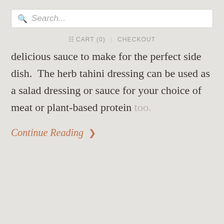Search...
CART (0)  CHECKOUT
delicious sauce to make for the perfect side dish. The herb tahini dressing can be used as a salad dressing or sauce for your choice of meat or plant-based protein too.
Continue Reading >